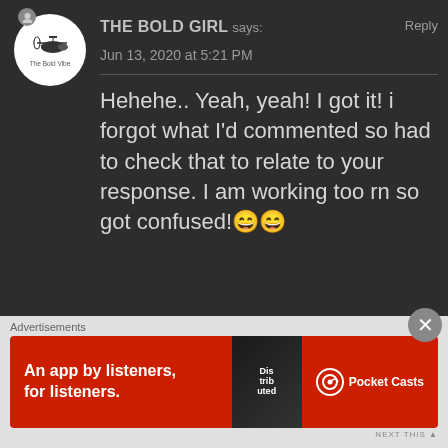THE BOLD GIRL says: Reply
Jun 13, 2020 at 5:21 PM
Hehehe.. Yeah, yeah! I got it! i forgot what I’d commented so had to check that to relate to your response. I am working too rn so got confused!😄😄
★ Liked by 1 person
ERA says: Reply
Jun 13, 2020 at 5:26 PM
Advertisements
An app by listeners, for listeners. Pocket Casts